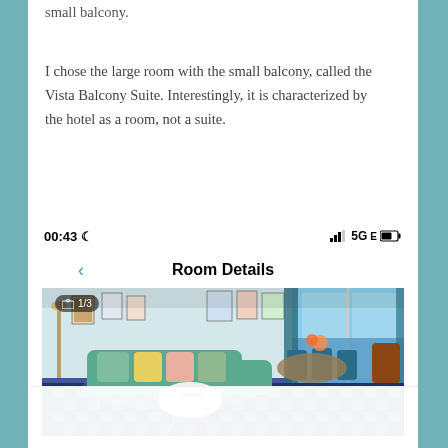small balcony.
I chose the large room with the small balcony, called the Vista Balcony Suite. Interestingly, it is characterized by the hotel as a room, not a suite.
[Figure (screenshot): Mobile phone screenshot showing a hotel app 'Room Details' page with status bar showing 00:43 and 5GE, a back navigation arrow, a photo of a hotel room (Vista Balcony Suite) with a teal sectional sofa on a checkered rug, dining area, and ocean view. Image counter shows 1/3. Below the photo is a panel showing 'Vista Balcony Suite' title and partial description text.]